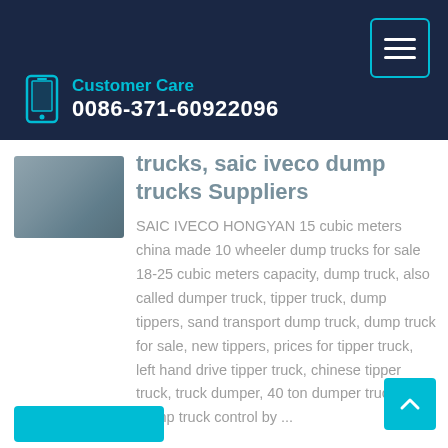Customer Care
0086-371-60922096
trucks, saic iveco dump trucks Suppliers
[Figure (photo): Photo of a truck cab/tractor unit parked outdoors]
SAIC IVECO HONGYAN 15 cubic meters china made 10 wheeler dump trucks for sale 18-25 cubic meters capacity, dump truck, also called dumper truck, tipper truck, dump tippers, sand transport dump truck, dump truck for sale, new tippers, prices for tipper truck, left hand drive tipper truck, chinese tipper truck, truck dumper, 40 ton dumper truck Dump truck control by ...